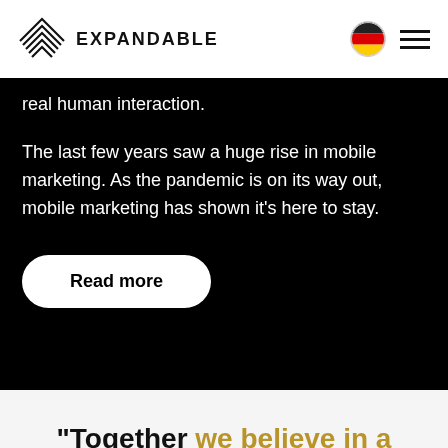EXPANDABLE
real human interaction.
The last few years saw a huge rise in mobile marketing. As the pandemic is on its way out, mobile marketing has shown it's here to stay.
Read more
"Together we believe in a world of